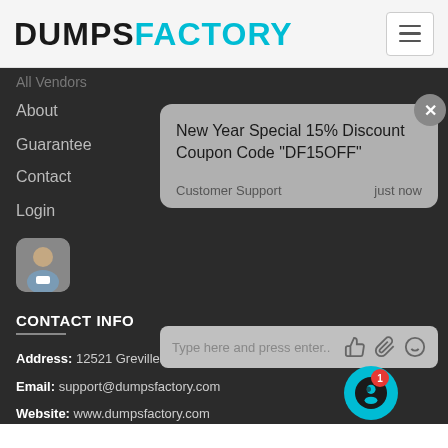DUMPSFACTORY
All Vendors
About
Guarantee
Contact
Login
New Year Special 15% Discount Coupon Code "DF15OFF"
Customer Support   just now
Type here and press enter..
CONTACT INFO
Address: 12521 Grevillea Ave #APT 4, Hawthorne, CA 90250
Email: support@dumpsfactory.com
Website: www.dumpsfactory.com